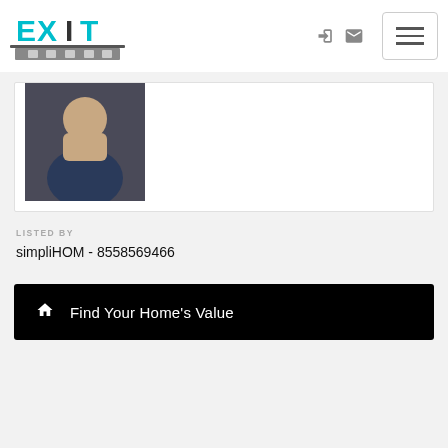[Figure (logo): EXIT Realty logo with teal/cyan lettering and house illustration]
[Figure (photo): Agent headshot photo, partial view showing a man in a dark shirt]
LISTED BY
simpliHOM - 8558569466
Find Your Home's Value